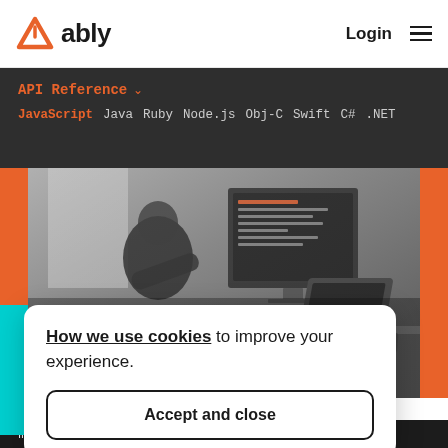[Figure (logo): Ably logo: orange triangle chevron icon followed by bold text 'ably']
Login
API Reference ∨
JavaScript   Java   Ruby   Node.js   Obj-C   Swift   C#   .NET
[Figure (photo): Black and white photo of people working at desks with computers and cameras]
How we use cookies to improve your experience.
Accept and close
If you're looking to integrate our...